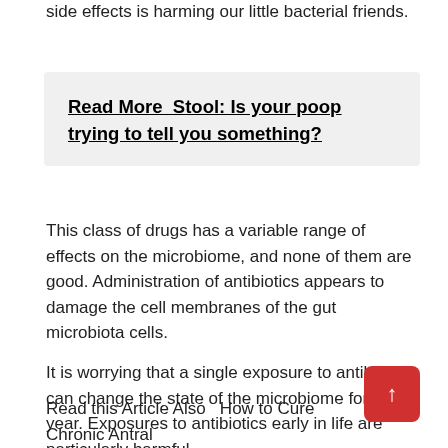side effects is harming our little bacterial friends.
Read More  Stool: Is your poop trying to tell you something?
This class of drugs has a variable range of effects on the microbiome, and none of them are good. Administration of antibiotics appears to damage the cell membranes of the gut microbiota cells.
It is worrying that a single exposure to antibiotics can change the state of the microbiome for a year. Exposures to antibiotics early in life are particularly harmful.
Read this Article Also   How to Cure Chronic Antral